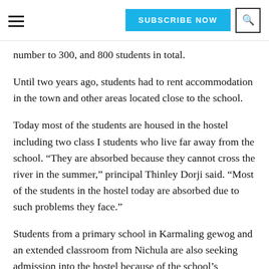SUBSCRIBE NOW | Search
number to 300, and 800 students in total.
Until two years ago, students had to rent accommodation in the town and other areas located close to the school.
Today most of the students are housed in the hostel including two class I students who live far away from the school. “They are absorbed because they cannot cross the river in the summer,” principal Thinley Dorji said. “Most of the students in the hostel today are absorbed due to such problems they face.”
Students from a primary school in Karmaling gewog and an extended classroom from Nichula are also seeking admission into the hostel because of the school’s proximity to these gewogs. Although students from these two schools were also given admission in the Gesarling Central School (GCS) in Dagana, they were reported to need a